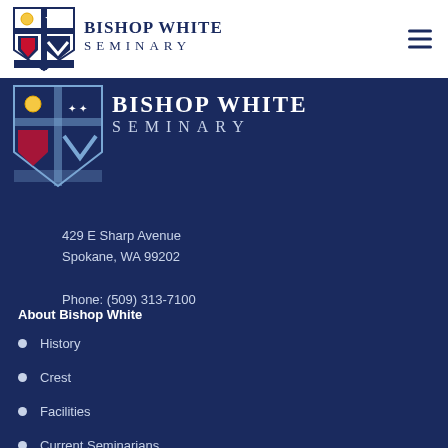[Figure (logo): Bishop White Seminary shield crest logo (small, color) in white header]
BISHOP WHITE SEMINARY
[Figure (logo): Bishop White Seminary shield crest logo (large, white/navy) in dark navy section]
429 E Sharp Avenue
Spokane, WA 99202

Phone: (509) 313-7100
About Bishop White
History
Crest
Facilities
Current Seminarians
Cohort Observations